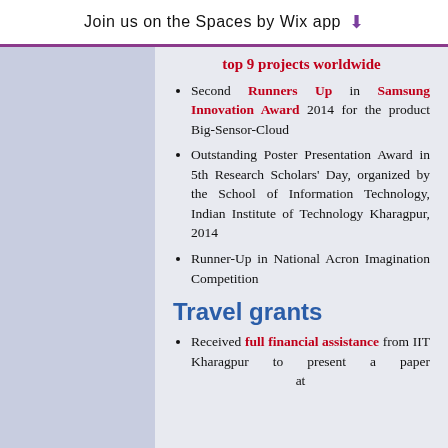Join us on the Spaces by Wix app
top 9 projects worldwide
Second Runners Up in Samsung Innovation Award 2014 for the product Big-Sensor-Cloud
Outstanding Poster Presentation Award in 5th Research Scholars' Day, organized by the School of Information Technology, Indian Institute of Technology Kharagpur, 2014
Runner-Up in National Acron Imagination Competition
Travel grants
Received full financial assistance from IIT Kharagpur to present a paper at